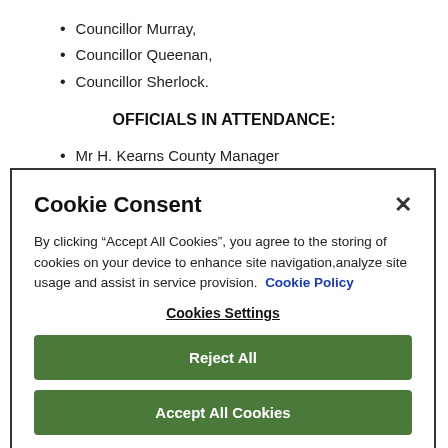Councillor Murray,
Councillor Queenan,
Councillor Sherlock.
OFFICIALS IN ATTENDANCE:
Mr H. Kearns County Manager
[Figure (screenshot): Cookie Consent modal dialog with title 'Cookie Consent', close button (×), body text explaining cookie usage with a 'Cookie Policy' link, a 'Cookies Settings' link, a 'Reject All' button, and an 'Accept All Cookies' button. Buttons are styled in dark green.]